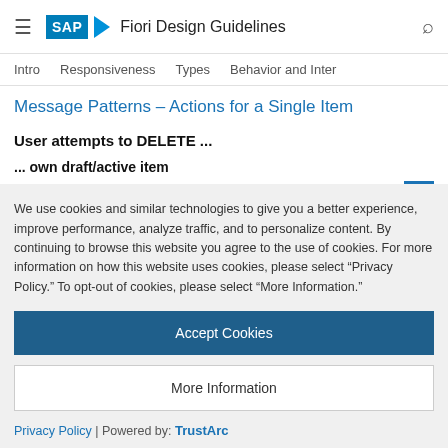SAP Fiori Design Guidelines
Intro | Responsiveness | Types | Behavior and Inter
Message Patterns – Actions for a Single Item
User attempts to DELETE ...
... own draft/active item
We use cookies and similar technologies to give you a better experience, improve performance, analyze traffic, and to personalize content. By continuing to browse this website you agree to the use of cookies. For more information on how this website uses cookies, please select “Privacy Policy.” To opt-out of cookies, please select “More Information.”
Accept Cookies
More Information
Privacy Policy | Powered by: TrustArc